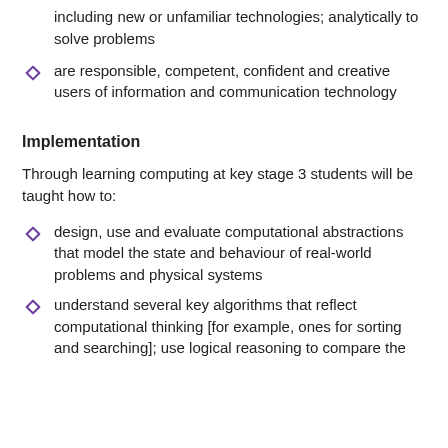including new or unfamiliar technologies; analytically to solve problems
are responsible, competent, confident and creative users of information and communication technology
Implementation
Through learning computing at key stage 3 students will be taught how to:
design, use and evaluate computational abstractions that model the state and behaviour of real-world problems and physical systems
understand several key algorithms that reflect computational thinking [for example, ones for sorting and searching]; use logical reasoning to compare the